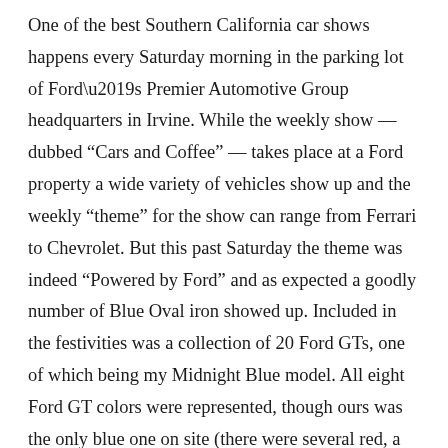One of the best Southern California car shows happens every Saturday morning in the parking lot of Ford's Premier Automotive Group headquarters in Irvine. While the weekly show — dubbed “Cars and Coffee” — takes place at a Ford property a wide variety of vehicles show up and the weekly “theme” for the show can range from Ferrari to Chevrolet. But this past Saturday the theme was indeed “Powered by Ford” and as expected a goodly number of Blue Oval iron showed up. Included in the festivities was a collection of 20 Ford GTs, one of which being my Midnight Blue model. All eight Ford GT colors were represented, though ours was the only blue one on site (there were several red, a couple black and Tungsten, and one each in white, yellow, silver and the Heritage colors).